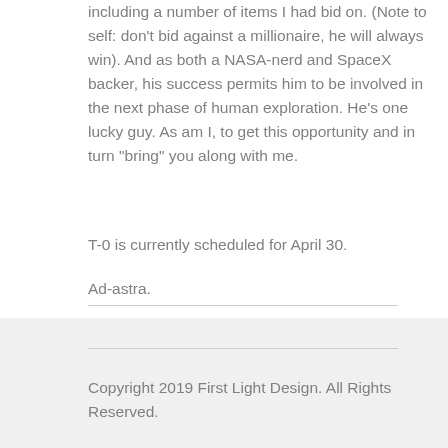including a number of items I had bid on. (Note to self: don’t bid against a millionaire, he will always win). And as both a NASA-nerd and SpaceX backer, his success permits him to be involved in the next phase of human exploration. He’s one lucky guy. As am I, to get this opportunity and in turn “bring” you along with me.
T-0 is currently scheduled for April 30.
Ad-astra.
Copyright 2019 First Light Design. All Rights Reserved.